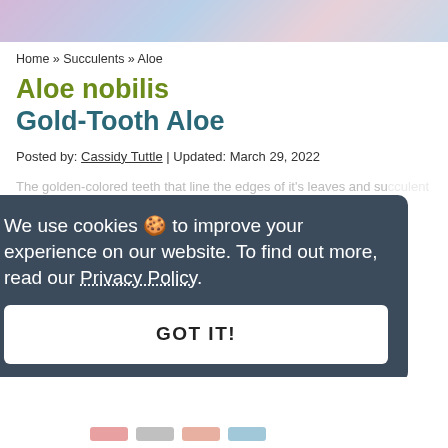[Figure (photo): Top portion of a photo showing a succulent plant with pink/purple and blue/teal tones]
Home » Succulents » Aloe
Aloe nobilis
Gold-Tooth Aloe
Posted by: Cassidy Tuttle | Updated: March 29, 2022
We use cookies 🍪 to improve your experience on our website. To find out more, read our Privacy Policy.
GOT IT!